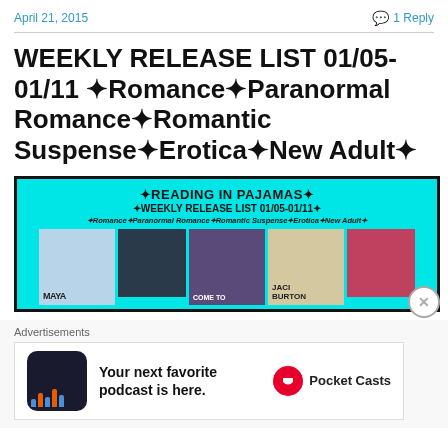April 21, 2015   💬 1 Reply
WEEKLY RELEASE LIST 01/05-01/11 ✦Romance✦Paranormal Romance✦Romantic Suspense✦Erotica✦New Adult✦
[Figure (illustration): Banner image for Reading in Pajamas Weekly Release List 01/05-01/11, cyan background with book covers shown below text]
Advertisements
[Figure (infographic): Pocket Casts advertisement: Your next favorite podcast is here.]